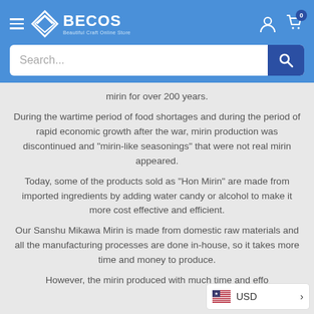BECOS - Beautiful Craft Online Store
mirin for over 200 years.
During the wartime period of food shortages and during the period of rapid economic growth after the war, mirin production was discontinued and "mirin-like seasonings" that were not real mirin appeared.
Today, some of the products sold as "Hon Mirin" are made from imported ingredients by adding water candy or alcohol to make it more cost effective and efficient.
Our Sanshu Mikawa Mirin is made from domestic raw materials and all the manufacturing processes are done in-house, so it takes more time and money to produce.
However, the mirin produced with much time and effo…